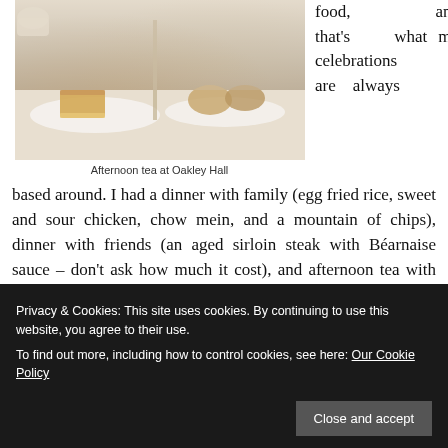[Figure (photo): Photograph of afternoon tea food items on plates, including sandwiches and scones on a tiered stand at Oakley Hall]
Afternoon tea at Oakley Hall
food, and that's what my celebrations are always based around. I had a dinner with family (egg fried rice, sweet and sour chicken, chow mein, and a mountain of chips), dinner with friends (an aged sirloin steak with Béarnaise sauce – don't ask how much it cost), and afternoon tea with my sister. I should add that I didn't do all that on the same day.
I visited Berkshire Show on the Sunday before my birthday, where I spent many hours wandering around eating food and trying not to buy beautiful things I don't really need. Food consumed: a bag of doughnuts, a salt-beef and pickles roll, and
Privacy & Cookies: This site uses cookies. By continuing to use this website, you agree to their use.
To find out more, including how to control cookies, see here: Our Cookie Policy
Close and accept